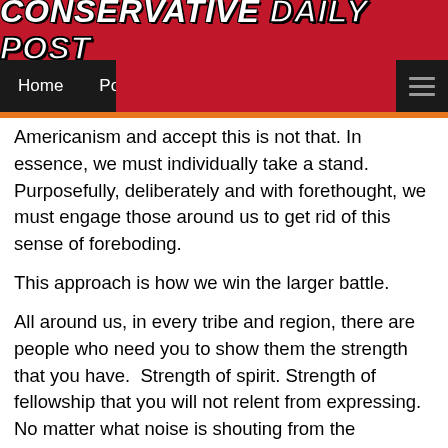CONSERVATIVE DAILY POST
Home  Politics  U.S.
Americanism and accept this is not that. In essence, we must individually take a stand.  Purposefully, deliberately and with forethought, we must engage those around us to get rid of this sense of foreboding.
This approach is how we win the larger battle.
All around us, in every tribe and region, there are people who need you to show them the strength that you have.  Strength of spirit. Strength of fellowship that you will not relent from expressing. No matter what noise is shouting from the loudspeakers we must withstand it; we must make